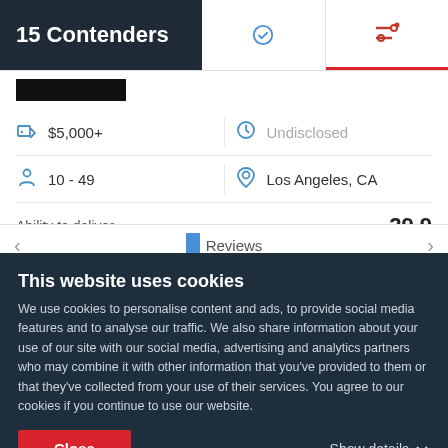15 Contenders
[Figure (screenshot): Company listing card showing price range $5,000+, team size 10-49, location Los Angeles CA, ability to deliver score 29.9 with bar chart showing 16.6, 8.2, 5.2 segments]
Ability to deliver   29.9
[Figure (bar-chart): Ability to deliver]
This website uses cookies
We use cookies to personalise content and ads, to provide social media features and to analyse our traffic. We also share information about your use of our site with our social media, advertising and analytics partners who may combine it with other information that you've provided to them or that they've collected from your use of their services. You agree to our cookies if you continue to use our website.
Close
Show details